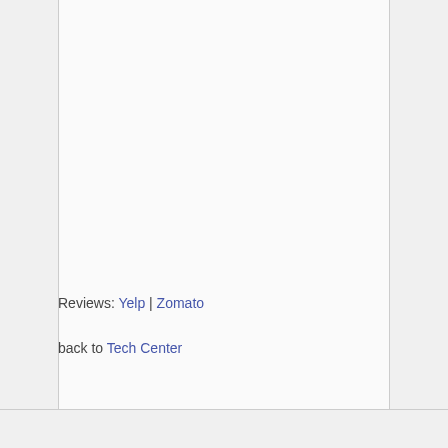Reviews: Yelp | Zomato
back to Tech Center